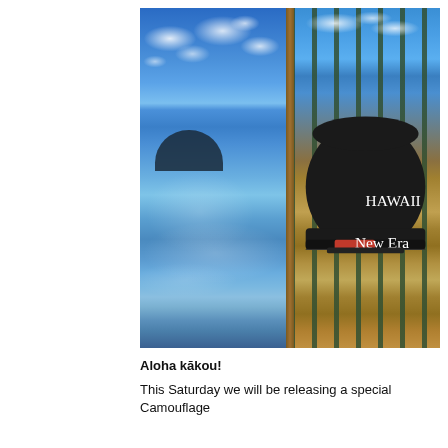[Figure (photo): Split photo collage: left side shows a Hawaiian beach/ocean scene with blue sky, clouds, island silhouette in the distance and clear shallow water on a sandy shore; right side shows a black HAWAII snapback cap hanging on a rusted green metal fence post against a blue sky background. The two photos are separated by a rusty brown vertical pole.]
Aloha kākou!
This Saturday we will be releasing a special Camouflage